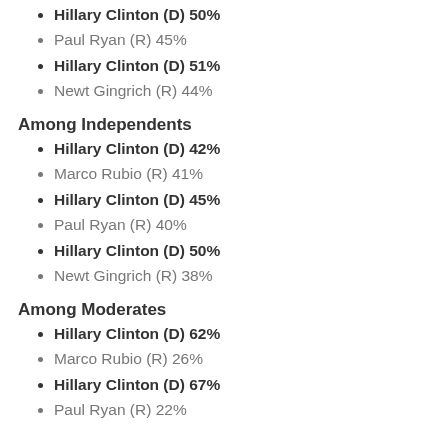Hillary Clinton (D) 50%
Paul Ryan (R) 45%
Hillary Clinton (D) 51%
Newt Gingrich (R) 44%
Among Independents
Hillary Clinton (D) 42%
Marco Rubio (R) 41%
Hillary Clinton (D) 45%
Paul Ryan (R) 40%
Hillary Clinton (D) 50%
Newt Gingrich (R) 38%
Among Moderates
Hillary Clinton (D) 62%
Marco Rubio (R) 26%
Hillary Clinton (D) 67%
Paul Ryan (R) 22%